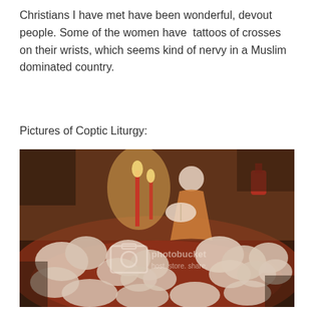Christians I have met have been wonderful, devout people. Some of the women have  tattoos of crosses on their wrists, which seems kind of nervy in a Muslim dominated country.
Pictures of Coptic Liturgy:
[Figure (photo): A warm-toned photograph of a Coptic Christian liturgy gathering. Multiple white-robed worshippers are kneeling or bowing with heads down on red carpets/rugs in a dimly lit interior space. A standing figure in orange/golden robes holds a book near candles. A Photobucket watermark is overlaid on the image.]